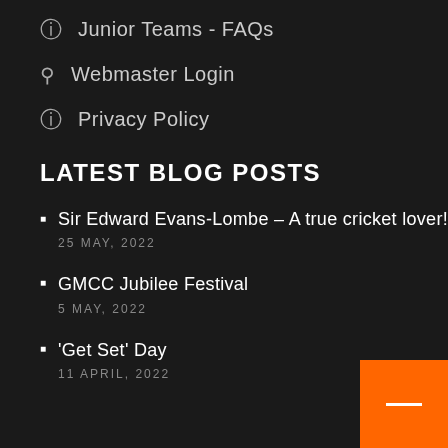Junior Teams - FAQs
Webmaster Login
Privacy Policy
LATEST BLOG POSTS
Sir Edward Evans-Lombe – A true cricket lover!
25 MAY, 2022
GMCC Jubilee Festival
5 MAY, 2022
'Get Set' Day
11 APRIL, 2022